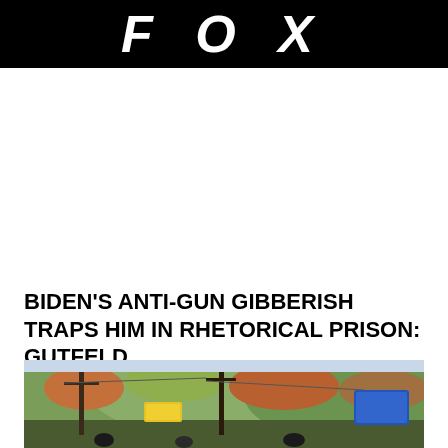FOX
BIDEN'S ANTI-GUN GIBBERISH TRAPS HIM IN RHETORICAL PRISON: GUTFELD
[Figure (photo): Outdoor scene with utility poles, signs, and autumn-colored hills in the background. People visible at the bottom of the frame.]